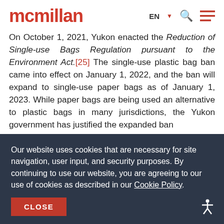mcmillan | EN ▾ 🔍 ☰
On October 1, 2021, Yukon enacted the Reduction of Single-use Bags Regulation pursuant to the Environment Act.[25] The single-use plastic bag ban came into effect on January 1, 2022, and the ban will expand to single-use paper bags as of January 1, 2023. While paper bags are being used an alternative to plastic bags in many jurisdictions, the Yukon government has justified the expanded ban
Our website uses cookies that are necessary for site navigation, user input, and security purposes. By continuing to use our website, you are agreeing to our use of cookies as described in our Cookie Policy.
CLOSE